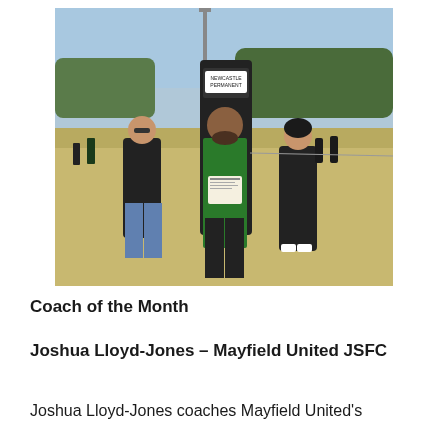[Figure (photo): Three people standing on a sports field. A woman in black on the left, a man in a green and black jacket holding a certificate in the center, standing in front of a Newcastle Permanent banner, and a woman in black on the right.]
Coach of the Month
Joshua Lloyd-Jones – Mayfield United JSFC
Joshua Lloyd-Jones coaches Mayfield United's